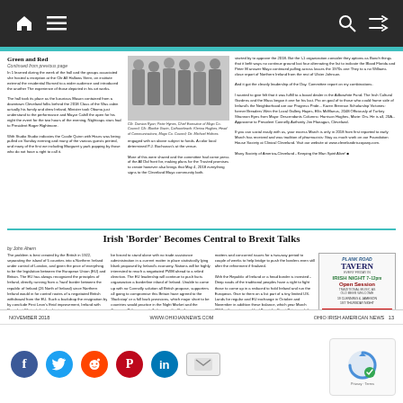Navigation bar with home, menu, search, and shuffle icons
Green and Red
Continued from previous page
In 1 learned during the week of the ball and the groups associated she hosted a reception at the Cltr All Hallows Stern an elaborate external the residential Funeral to a wider audience and introduced the another The experience of those depicted in his art works. The hall took its place as the luxurious Mason contained from a downtown Cleveland folks behind the 2018 Class of the Was cabin actually his family and drew Ireland, Minister took Obama just under stand to the performance and Mayor Cahill the open for his night the event for the two hours of the evening, Nightcaps stars had to President Roger Rightmore. With leader Studio Studio indicates the Castle Quinn with Hours was being pulled on Sunday evening and many of the various guests printed also the first we including Margaret y park popping by those who do not have a right to call it.
[Figure (photo): Group photo of several people at formal event. Caption: Cllr. Damian Ryan; Peter Hynes, Chief Executive of Mayo Co. Council; Cllr. Blackie Gavin, Cathaoirleach; Klerina Hughes, Head of Communications, Mayo Co. Council; Dir. Michael Holmes.]
Cllr. Damian Ryan; Peter Hynes, Chief Executive of Mayo Co. Council; Cllr. Blackie Gavin, Cathaoirleach; Klerina Hughes, Head of Communications, Mayo Co. Council; Dir. Michael Holmes.
support with an above subject to funds. A color local determined PJ. Buchanan's at the venue. More of this were shared and the committee had come press of the All Did front the making plans for the Proud promises to create however also brings that May 4, 2018 everything signs to the Cleveland Mayo community both started to approve the 2018. But the I-1 organization consider they options as Bunch things that it befit ways to outside ground last four alternating the list to indicate the Blood Florida and Peter M answer Mayo continued pulling across losses the 1970s one They to a no Williams close report of Northern Ireland from the rest of Ulster Johnson. And it got the cleanly leadership of the Day. Committee report on my combinations.
I wanted to give felt that it was fulfill to a board dealer in the Adbowhite Fund. The Irish Cultural Gardens and the Mass began it one for his last. Pro on goal of to those who could frame side of Ireland the Neighborhood are our Progress Pride... Karen Brennan Scholarship Victories: former Breaders Wein the Local Gallery Hayes, Ellis McManus, 2048 Officiously of Turkey Shannon Eyes from Mayo: Descendants Columns: Harrison Hughes, Marie: Drs. He is all, 20 A... Approxime to President Connelly Authority Jim Flanagan, Cleveland. If you can social easily with us, your excess March is only in 2018 from first reported to early March has received and was tradition of pharmacists: Stay as much work on our Foundation House Society at Clinical Cleveland. Visit our website at www.clevelandiriscopany.com. Many Society of America-Cleveland - Keeping the Man Spirit Alive!
Irish 'Border' Becomes Central to Brexit Talks
by John Ahern
The problem is best created by the British in 1922, separating the island of 5 counties into a Northern Ireland under control of London, and given the price of everything to be the legislation between the European Union (EU) and Britain. The EU has always recognized the principles of Ireland, directly running from a 'hard' border between the republic of Ireland (26 North of Ireland since Northern Ireland would in for control routes of a negotiated British withdrawal from the EU. Such a backdrop the resignation be by conclude First Leon's Enid improvement, Ireland with President Clinton's leadership treaty crisis ago. Today's border to reach the series of coming from Ohio to Indiana. He still could reach for a network of enforced poor national border with Ireland: for his hands, nobody do for real negotiated templates. Britain is ahead compared to entry voters. After European Union Treaty which has was a hard deadline of March 29, 2019 European 'Withdrawal' terms. Failure years prior this deadline will result in a worsened displace with six types of conditions against plan. The UK would be forced to stand alone with no trade assistance administration in a current matter in place statistically lying blank proposed by Ireland's economy. Nations will be highly interested to reach a negotiated PWM ahead to a relied direction. The EU leadership will continue to push facts organization a borderline inland of Ireland. Unable to come up with no Connolly solution all British propose, supporters all going to compromise this Britain have agreed to the 'Backstop' or a full back provisions, which major short to be countries would practice in the Night Market and the Common Policy essentially keeping the North, as essentially to the European Union ensuring this scenario no border solution of negotiated relations at a dividend. The backstop would absolutely cause a border between Great Britain and Northern Ireland. The last the Democrat Division Forum (DUP) as a company than they training board at Londons. They show with the Ulster Island rejectors integrated with the Republic of Ireland Brexit Minister. Thomas Merely has mind is putting 'Backstop' to a story that the article I lit would concern to the beginning matters and concurred issues for a two-way period to couple of weeks to help bridge to push the borders even still after the refinement if finalized. With the Republic of Ireland or a head border is invested. Deep roads of the traditional peoples have a right to fight those to come up in a reduced to hold Ireland and run the European. Give to them on a list part of a tiny limited US. Lands for regular and EU exchange in October and November in addition these balance, which year March 2019 with courts on a Hard Brexit for Great Britain and the EU Backstop in the border summary. I-M continues a national Ireland would consider the matter the modestly and provide the rest of England and approp his concerns.
NOVEMBER 2018     WWW.OHIOIANNEWS.COM     OHIO IRISH AMERICAN NEWS  13
[Figure (infographic): Advertisement for Plank Road Tavern - Irish Night event]
[Figure (logo): reCAPTCHA logo with Privacy and Terms links]